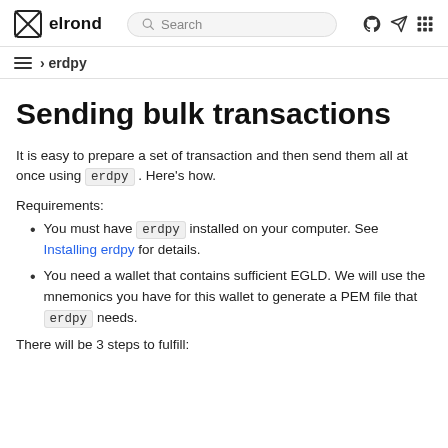elrond | Search
› erdpy
Sending bulk transactions
It is easy to prepare a set of transaction and then send them all at once using erdpy . Here's how.
Requirements:
You must have erdpy installed on your computer. See Installing erdpy for details.
You need a wallet that contains sufficient EGLD. We will use the mnemonics you have for this wallet to generate a PEM file that erdpy needs.
There will be 3 steps to fulfill: